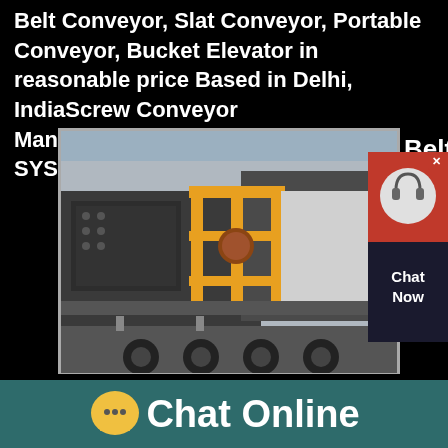Belt Conveyor, Slat Conveyor, Portable Conveyor, Bucket Elevator in reasonable price Based in Delhi, IndiaScrew Conveyor Manufacturer,Portable Conveyor SYSTIRA
[Figure (photo): Industrial conveyor/screening machine on a trailer with orange metal framework, photographed in a warehouse or outdoor industrial setting. Large dark grey mechanical equipment with yellow/orange structural supports.]
Belt
[Figure (other): Chat widget with red background, headset icon, and 'Chat Now' text]
Conveyor Manufacturer In
Chat Online